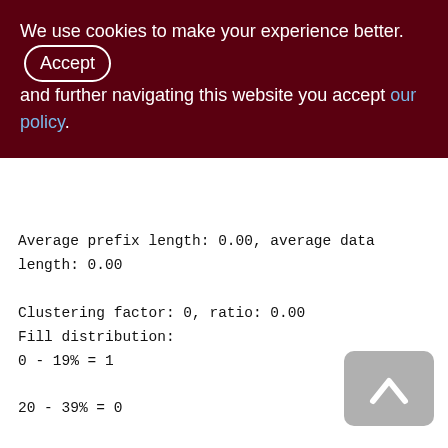We use cookies to make your experience better. By accepting and further navigating this website you accept our policy.
Average prefix length: 0.00, average data length: 0.00
Clustering factor: 0, ratio: 0.00
Fill distribution:
0 - 19% = 1
20 - 39% = 0
40 - 59% = 0
60 - 79% = 0
80 - 99% = 0

Index PHRASES_NAME (2)
Root page: 282, depth: 1, leaf buckets: 1, nodes: 0